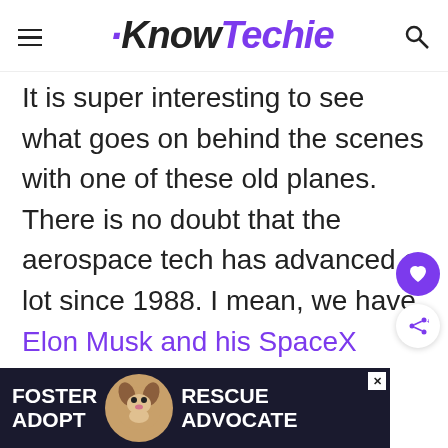KnowTechie
It is super interesting to see what goes on behind the scenes with one of these old planes. There is no doubt that the aerospace tech has advanced a lot since 1988. I mean, we have Elon Musk and his SpaceX project intent on opening up the sky. I wonder if he updates his spacecraft via floppy disk, or whether he just plugs his finger into a USB port and uploads
[Figure (photo): Advertisement banner: Foster Adopt Rescue Advocate with beagle dog image on dark background]